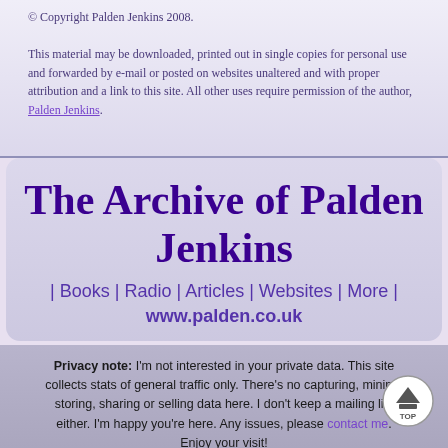© Copyright Palden Jenkins 2008. This material may be downloaded, printed out in single copies for personal use and forwarded by e-mail or posted on websites unaltered and with proper attribution and a link to this site. All other uses require permission of the author, Palden Jenkins.
The Archive of Palden Jenkins
| Books | Radio | Articles | Websites | More | www.palden.co.uk
Privacy note: I'm not interested in your private data. This site collects stats of general traffic only. There's no capturing, mining, storing, sharing or selling data here. I don't keep a mailing list either. I'm happy you're here. Any issues, please contact me. Enjoy your visit!
00332777